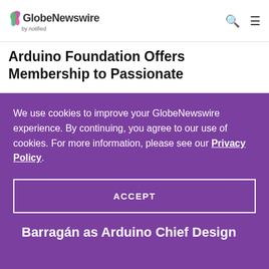GlobeNewswire by notified
Arduino Foundation Offers Membership to Passionate
We use cookies to improve your GlobeNewswire experience. By continuing, you agree to our use of cookies. For more information, please see our Privacy Policy.
ACCEPT
Barragán as Arduino Chief Design